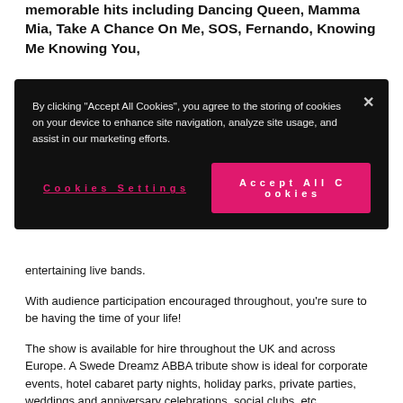memorable hits including Dancing Queen, Mamma Mia, Take A Chance On Me, SOS, Fernando, Knowing Me Knowing You,
[Figure (screenshot): Cookie consent banner with dark background. Text reads: 'By clicking "Accept All Cookies", you agree to the storing of cookies on your device to enhance site navigation, analyze site usage, and assist in our marketing efforts.' An X close button is in the top right. Two buttons: 'Cookies Settings' (pink underlined text) and 'Accept All Cookies' (bright pink/magenta filled button).]
entertaining live bands.
With audience participation encouraged throughout, you're sure to be having the time of your life!
The show is available for hire throughout the UK and across Europe. A Swede Dreamz ABBA tribute show is ideal for corporate events, hotel cabaret party nights, holiday parks, private parties, weddings and anniversary celebrations, social clubs, etc.
Various formats of a Swede Dreamz ABBA tribute show are available (up to two hours in duration) depending on individual requirement.